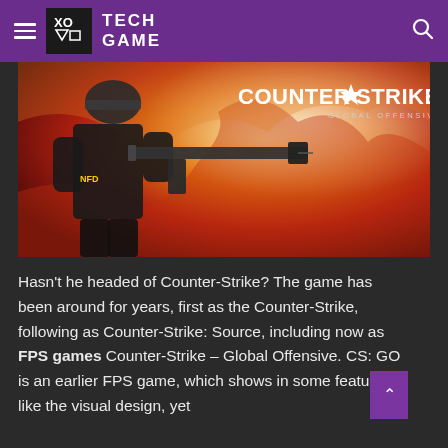TECH GAME
[Figure (photo): Counter-Strike: Global Offensive promotional image showing a soldier in tactical gear aiming an assault rifle, with the CS:GO logo visible. Background features orange/red fiery tones.]
Hasn't he headed of Counter-Strike? The game has been around for years, first as the Counter-Strike, following as Counter-Strike: Source, including now as FPS games Counter-Strike – Global Offensive. CS: GO is an earlier FPS game, which shows in some features like the visual design, yet